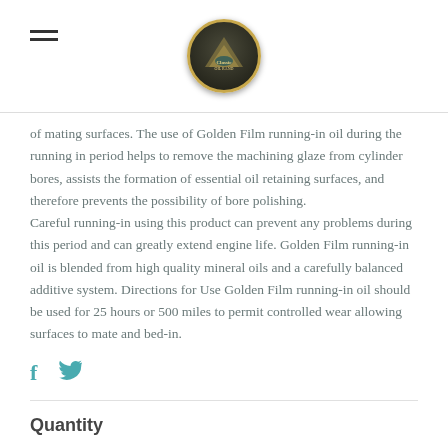[Classic Oils logo]
of mating surfaces. The use of Golden Film running-in oil during the running in period helps to remove the machining glaze from cylinder bores, assists the formation of essential oil retaining surfaces, and therefore prevents the possibility of bore polishing.
Careful running-in using this product can prevent any problems during this period and can greatly extend engine life. Golden Film running-in oil is blended from high quality mineral oils and a carefully balanced additive system. Directions for Use Golden Film running-in oil should be used for 25 hours or 500 miles to permit controlled wear allowing surfaces to mate and bed-in.
[Figure (other): Facebook and Twitter social share icons in teal/blue color]
Quantity
1